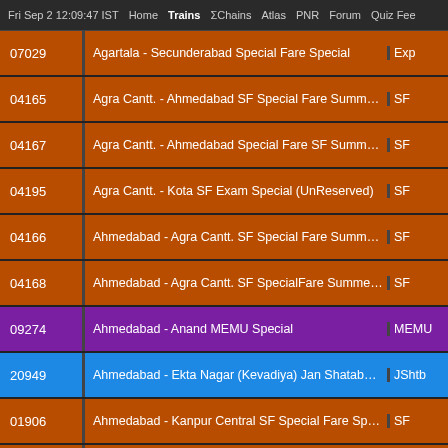Fri Sep 2 12:09:47 IST   Home   Trains   ΣChains   Atlas   PNR   Forum   Quiz Fee
| Number | Train Name | Type |
| --- | --- | --- |
| 07029 | Agartala - Secunderabad Special Fare Special | Exp |
| 04165 | Agra Cantt. - Ahmedabad SF Special Fare Summer S... | SF |
| 04167 | Agra Cantt. - Ahmedabad Special Fare SF Summer S... | SF |
| 04195 | Agra Cantt. - Kota SF Exam Special (UnReserved) | SF |
| 04166 | Ahmedabad - Agra Cantt. SF Special Fare Summer S... | SF |
| 04168 | Ahmedabad - Agra Cantt. SF SpecialFare Summer S... | SF |
| 09274 | Ahmedabad - Anand MEMU Special | MEMU |
| 20949 | Ahmedabad - Ekta Nagar (Kevadiya) Jan Shatabdi E... | JShtb |
| 01906 | Ahmedabad - Kanpur Central SF Special Fare Special | SF |
| 09412 | Ahmedabad - Kudal Special Fare Ganapati Special | Exp |
| 09435 | Ahmedabad - Okha SF Special Fare Special | SF |
| 09328 | Ahmedabad - Vadodara MEMU Special | MEMU |
| 01861 | Ait - Konch Shuttle Express Special (UnReserved) | Exp |
| 01867 | Ait - Konch Shuttle Express Special (UnReserved) | Exp |
| 09040 | Ajmer - Bandra Terminus Humsafar Special Fare Sp... |  |
| 09621 | Ajmer - Bandra Terminus SF Special Fare Special |  |